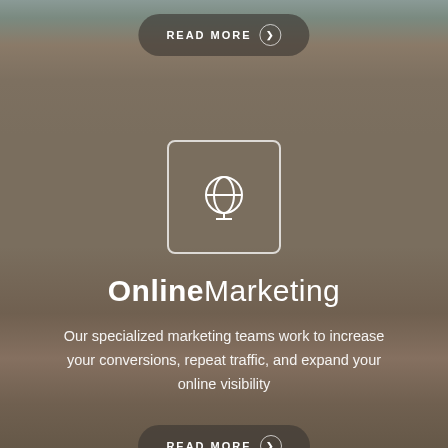[Figure (infographic): Blurred brownish-taupe background photo of a book spine/wooden surface]
READ MORE ❯
[Figure (illustration): White outlined square icon containing a globe/world symbol]
Online Marketing
Our specialized marketing teams work to increase your conversions, repeat traffic, and expand your online visibility
READ MORE ❯